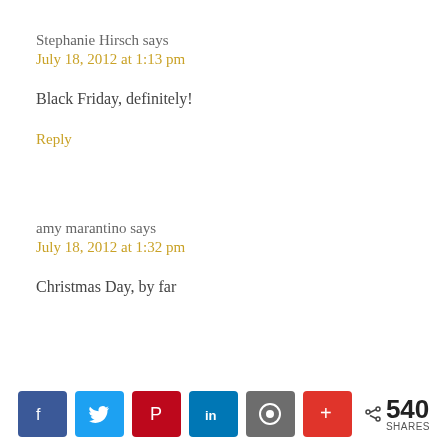Stephanie Hirsch says
July 18, 2012 at 1:13 pm
Black Friday, definitely!
Reply
amy marantino says
July 18, 2012 at 1:32 pm
Christmas Day, by far
[Figure (infographic): Social share bar with Facebook, Twitter, Pinterest, LinkedIn, Blogger, and More buttons, showing 540 SHARES]